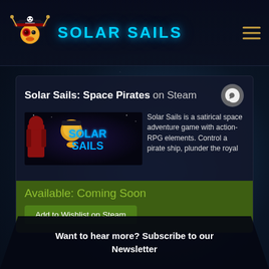SOLAR SAILS
Solar Sails: Space Pirates on Steam
[Figure (screenshot): Solar Sails game promotional image with characters and title logo]
Solar Sails is a satirical space adventure game with action-RPG elements. Control a pirate ship, plunder the royal
Available: Coming Soon
Add to Wishlist on Steam
Want to hear more? Subscribe to our Newsletter